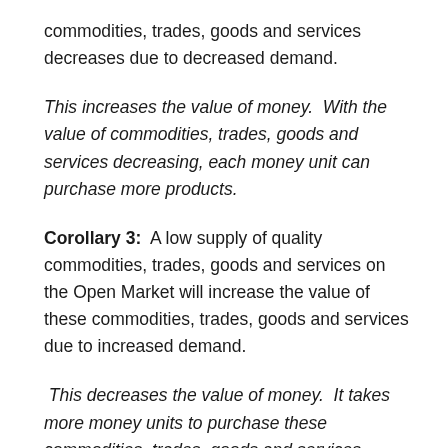commodities, trades, goods and services decreases due to decreased demand.
This increases the value of money.  With the value of commodities, trades, goods and services decreasing, each money unit can purchase more products.
Corollary 3:  A low supply of quality commodities, trades, goods and services on the Open Market will increase the value of these commodities, trades, goods and services due to increased demand.
This decreases the value of money.  It takes more money units to purchase these commodities, trades, goods and services.